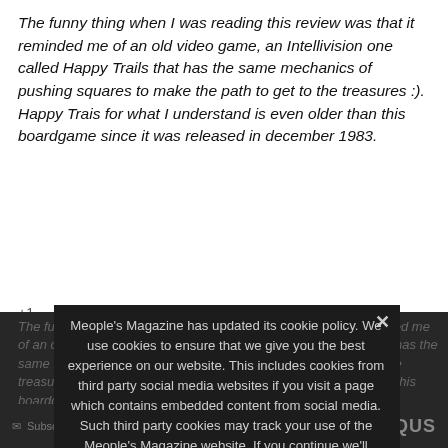The funny thing when I was reading this review was that it reminded me of an old video game, an Intellivision one called Happy Trails that has the same mechanics of pushing squares to make the path to get to the treasures :). Happy Trais for what I understand is even older than this boardgame since it was released in december 1983.
+1
The funny thing when I was reading this review was that it reminded me of an old video game, an Intellivision one called Happy Trails that has the same mechanics of pushing squares to make the path to get to the treasures :). Happy Trais for what I understand is even older than this boardgame since it was released in december 1983.
Meople's Magazine has updated its cookie policy. We use cookies to ensure that we give you the best experience on our website. This includes cookies from third party social media websites if you visit a page which contains embedded content from social media. Such third party cookies may track your use of the Meople's Magazine website. If you continue we'll assume that you are happy to receive all cookies on the Meople's Magazine website.
Privacy Preferences
I Agree
Subscribe  Do Not Se...  DISQUS